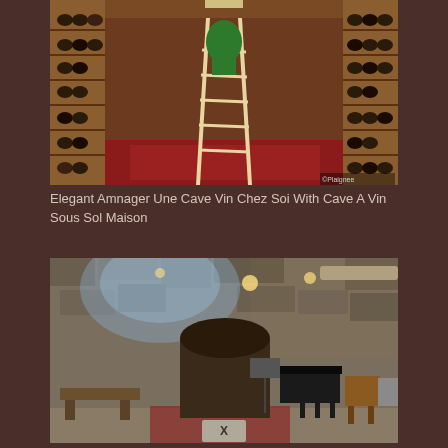[Figure (photo): Interior of a wine cellar with wooden shelving units filled with wine bottles, a red carpet on the floor, and a wooden ladder leaning against the shelves. Green jacket hanging on the ladder.]
Elegant Amnager Une Cave Vin Chez Soi With Cave A Vin Sous Sol Maison
[Figure (photo): Stone-walled basement room with arched architecture, vaulted ceiling, ambient lighting, a grand piano, a bench, chairs, and a red carpet on the floor. A close/X button overlay is visible at the bottom center.]